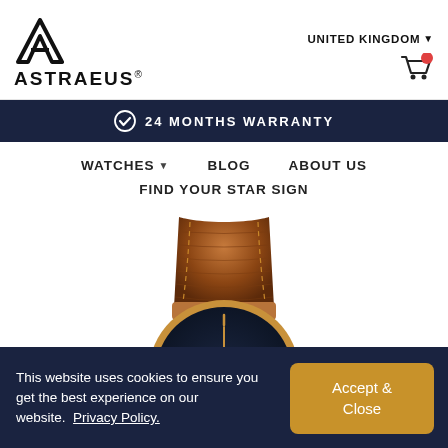[Figure (logo): Astraeus brand logo with A-shaped geometric icon and brand name ASTRAEUS]
UNITED KINGDOM ▼
[Figure (illustration): Shopping cart icon with red notification dot]
✓ 24 MONTHS WARRANTY
WATCHES ▼   BLOG   ABOUT US
FIND YOUR STAR SIGN
[Figure (photo): Top-down view of a luxury watch with brown crocodile leather strap, rose gold case, and dark navy/black dial with minimalist golden hour markers]
This website uses cookies to ensure you get the best experience on our website.  Privacy Policy.
Accept & Close